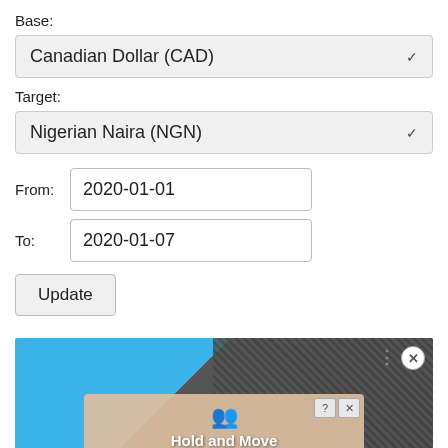Base:
Canadian Dollar (CAD)
Target:
Nigerian Naira (NGN)
From:  2020-01-01
To:  2020-01-07
Update
[Figure (screenshot): Advertisement banner showing a blue background with dark textured fabric/material, a close button (x) in the top right, a vertical dots menu, and an inner panel with a 'Hold and Move' label and two blue figure icons.]